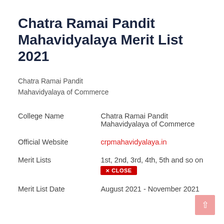Chatra Ramai Pandit Mahavidyalaya Merit List 2021
Chatra Ramai Pandit Mahavidyalaya of Commerce
| Field | Value |
| --- | --- |
| College Name | Chatra Ramai Pandit Mahavidyalaya of Commerce |
| Official Website | crpmahavidyalaya.in |
| Merit Lists | 1st, 2nd, 3rd, 4th, 5th and so on |
| Merit List Date | August 2021 - November 2021 |